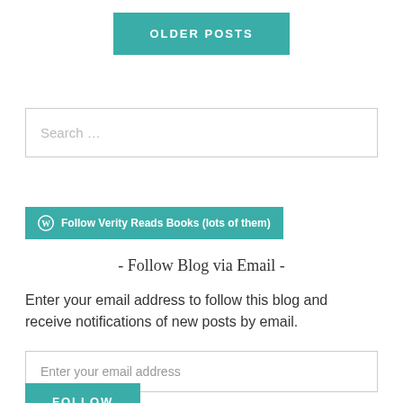OLDER POSTS
Search …
Follow Verity Reads Books (lots of them)
- Follow Blog via Email -
Enter your email address to follow this blog and receive notifications of new posts by email.
Enter your email address
FOLLOW